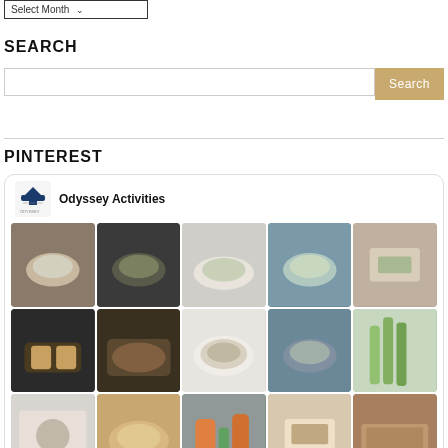Select Month
SEARCH
[Figure (screenshot): Search bar with text input field and golden Search button]
PINTEREST
[Figure (screenshot): Pinterest widget showing Odyssey Activities board with logo and grid of food preparation photos]